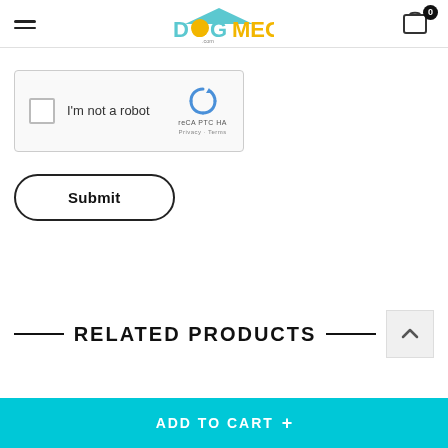DogMega.com header with hamburger menu, logo, and cart icon showing 0 items
[Figure (screenshot): reCAPTCHA widget with checkbox labeled 'I'm not a robot', reCAPTCHA logo and branding]
[Figure (screenshot): Submit button with rounded pill border]
RELATED PRODUCTS
[Figure (screenshot): ADD TO CART button bar in cyan/teal color at bottom of page]